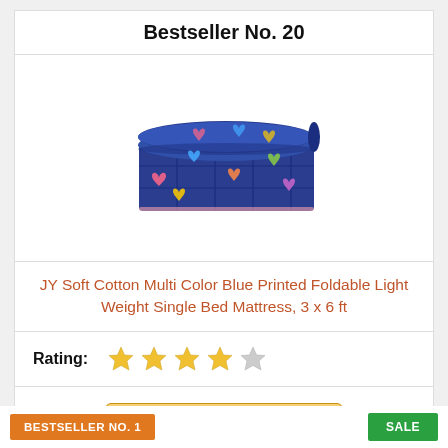Bestseller No. 20
[Figure (photo): Blue printed foldable mattress rolled up with colorful heart patterns]
JY Soft Cotton Multi Color Blue Printed Foldable Light Weight Single Bed Mattress, 3 x 6 ft
Rating: ★★★★☆
Check on Amazon
BESTSELLER NO. 1
SALE